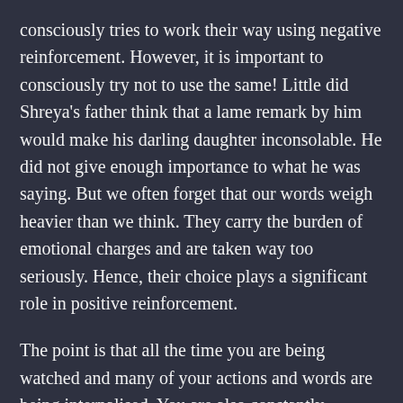consciously tries to work their way using negative reinforcement. However, it is important to consciously try not to use the same! Little did Shreya's father think that a lame remark by him would make his darling daughter inconsolable. He did not give enough importance to what he was saying. But we often forget that our words weigh heavier than we think. They carry the burden of emotional charges and are taken way too seriously. Hence, their choice plays a significant role in positive reinforcement.
The point is that all the time you are being watched and many of your actions and words are being internalised. You are also constantly responsible for the way your child is going to feel about herself. Whether you choose to do it by creating positivity or negativity is what you have to decide. But the next time you just happen to pull down your child for something, even though it may be unknowingly, just remember how you feel when your